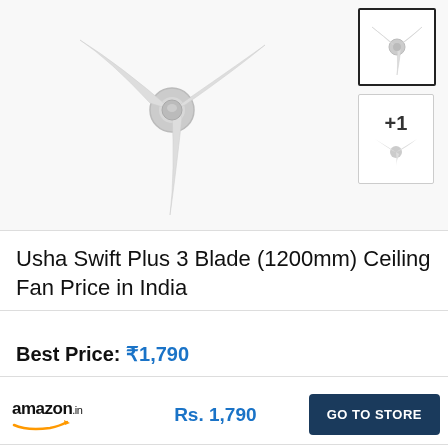[Figure (photo): Usha Swift Plus 3 Blade ceiling fan shown from below at an angle, white/silver color, on light grey background. Thumbnail images on right side including one with +1 overlay.]
Usha Swift Plus 3 Blade (1200mm) Ceiling Fan Price in India
Best Price: ₹1,790
amazon.in  Rs. 1,790  GO TO STORE
Key Specifications
Ceiling Fan